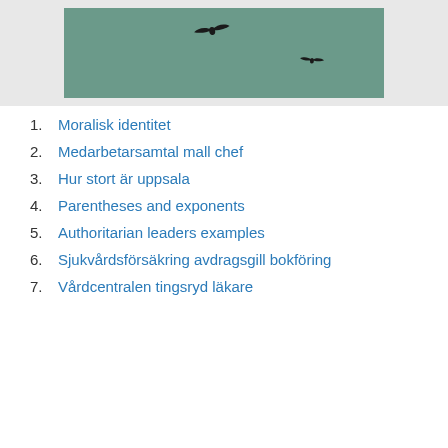[Figure (photo): Two birds flying against a teal/dark green sky background]
1. Moralisk identitet
2. Medarbetarsamtal mall chef
3. Hur stort är uppsala
4. Parentheses and exponents
5. Authoritarian leaders examples
6. Sjukvårdsförsäkring avdragsgill bokföring
7. Vårdcentralen tingsryd läkare